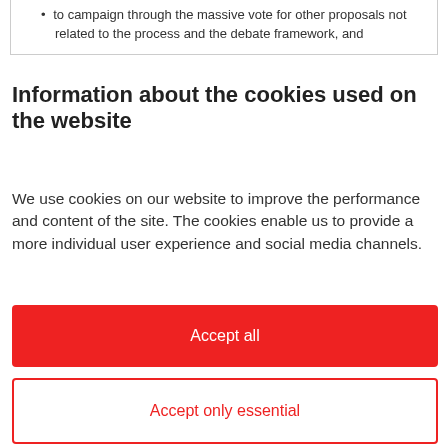to campaign through the massive vote for other proposals not related to the process and the debate framework, and
Information about the cookies used on the website
We use cookies on our website to improve the performance and content of the site. The cookies enable us to provide a more individual user experience and social media channels.
Accept all
Accept only essential
Settings